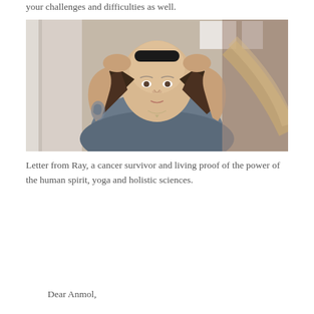your challenges and difficulties as well.
[Figure (photo): A woman with a bald head wearing a dark hairpiece/wig, adjusting it with both hands raised. She is wearing a grey t-shirt and has a tattoo on her left arm. The photo appears to be taken in front of a mirror. She is a cancer survivor.]
Letter from Ray, a cancer survivor and living proof of the power of the human spirit, yoga and holistic sciences.
Dear Anmol,